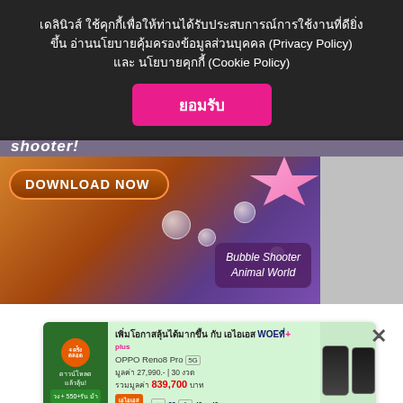เดลินิวส์ ใช้คุกกี้เพื่อให้ท่านได้รับประสบการณ์การใช้งานที่ดียิ่งขึ้น อ่านนโยบายคุ้มครองข้อมูลส่วนบุคคล (Privacy Policy) และ นโยบายคุกกี้ (Cookie Policy)
ยอมรับ
[Figure (screenshot): Game advertisement banner for Bubble Shooter Animal World showing 'DOWNLOAD NOW' button and game visuals]
[Figure (screenshot): Advertisement banner for AIS WOW+ plan with OPPO Reno8 Pro 5G, price 27,990 baht, 30 installments, total value 839,700 baht]